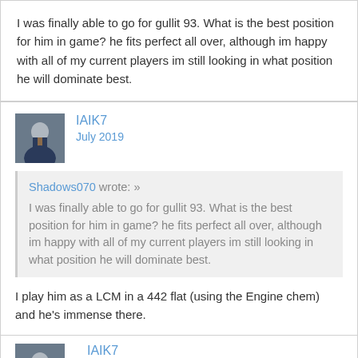I was finally able to go for gullit 93. What is the best position for him in game? he fits perfect all over, although im happy with all of my current players im still looking in what position he will dominate best.
IAIK7
July 2019
Shadows070 wrote: » I was finally able to go for gullit 93. What is the best position for him in game? he fits perfect all over, although im happy with all of my current players im still looking in what position he will dominate best.
I play him as a LCM in a 442 flat (using the Engine chem) and he's immense there.
IAIK7